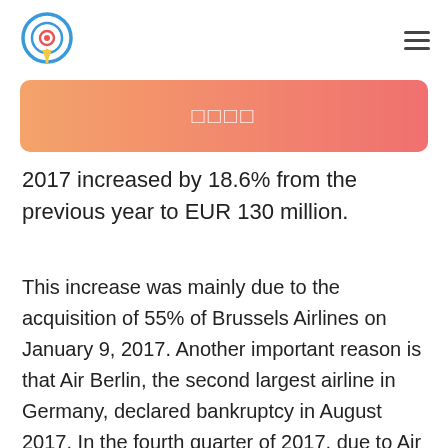[logo] [menu icon]
□□□□
2017 increased by 18.6% from the previous year to EUR 130 million.
This increase was mainly due to the acquisition of 55% of Brussels Airlines on January 9, 2017. Another important reason is that Air Berlin, the second largest airline in Germany, declared bankruptcy in August 2017. In the fourth quarter of 2017, due to Air Berlin, increased revenue by EUR 150 million. With the continuous development of the global economy, the demand of the aviation industry in various regions has continuously increased. As the